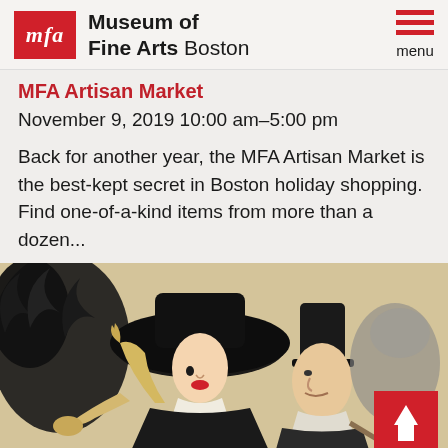Museum of Fine Arts Boston
MFA Artisan Market
November 9, 2019 10:00 am–5:00 pm
Back for another year, the MFA Artisan Market is the best-kept secret in Boston holiday shopping. Find one-of-a-kind items from more than a dozen...
[Figure (illustration): Toulouse-Lautrec style Art Nouveau illustration showing figures in black hats and period clothing at what appears to be a social event or theater.]